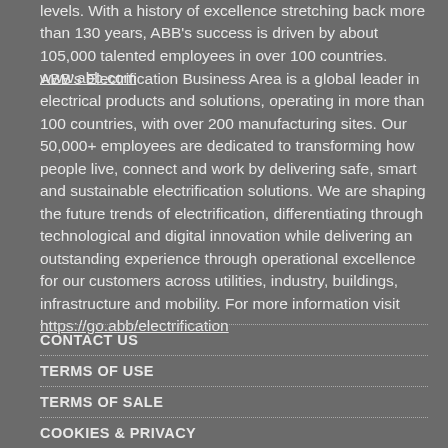levels. With a history of excellence stretching back more than 130 years, ABB's success is driven by about 105,000 talented employees in over 100 countries. www.abb.com
ABB's Electrification Business Area is a global leader in electrical products and solutions, operating in more than 100 countries, with over 200 manufacturing sites. Our 50,000+ employees are dedicated to transforming how people live, connect and work by delivering safe, smart and sustainable electrification solutions. We are shaping the future trends of electrification, differentiating through technological and digital innovation while delivering an outstanding experience through operational excellence for our customers across utilities, industry, buildings, infrastructure and mobility. For more information visit https://go.abb/electrification
CONTACT US
TERMS OF USE
TERMS OF SALE
COOKIES & PRIVACY